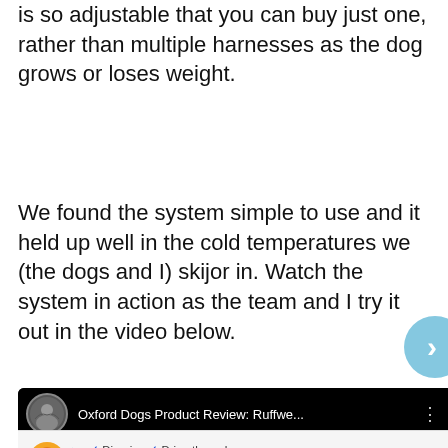is so adjustable that you can buy just one, rather than multiple harnesses as the dog grows or loses weight.
We found the system simple to use and it held up well in the cold temperatures we (the dogs and I) skijor in. Watch the system in action as the team and I try it out in the video below.
[Figure (screenshot): YouTube video thumbnail showing 'Oxford Dogs Product Review: Ruffwe...' with a person skiing with dogs in snowy landscape]
[Figure (screenshot): Burger King ad banner showing dine-in, drive-through, and delivery options with navigation arrow]